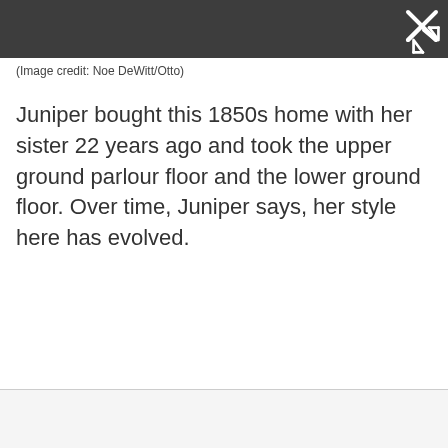(Image credit: Noe DeWitt/Otto)
Juniper bought this 1850s home with her sister 22 years ago and took the upper ground parlour floor and the lower ground floor. Over time, Juniper says, her style here has evolved.